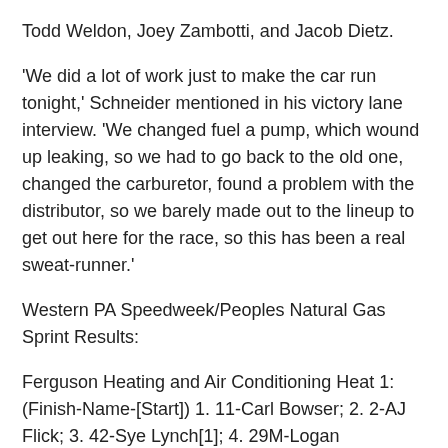Todd Weldon, Joey Zambotti, and Jacob Dietz.
'We did a lot of work just to make the car run tonight,' Schneider mentioned in his victory lane interview. 'We changed fuel a pump, which wound up leaking, so we had to go back to the old one, changed the carburetor, found a problem with the distributor, so we barely made out to the lineup to get out here for the race, so this has been a real sweat-runner.'
Western PA Speedweek/Peoples Natural Gas Sprint Results:
Ferguson Heating and Air Conditioning Heat 1: (Finish-Name-[Start]) 1. 11-Carl Bowser; 2. 2-AJ Flick; 3. 42-Sye Lynch[1]; 4. 29M-Logan McCandless[2]; 5. 20B-Cody Bova; 6. 32V-Vivian Jones; 7. 31C-Chase Metheney; 8. 5-Robert McMillin[3]; 9. 80JR-Russell Colwell